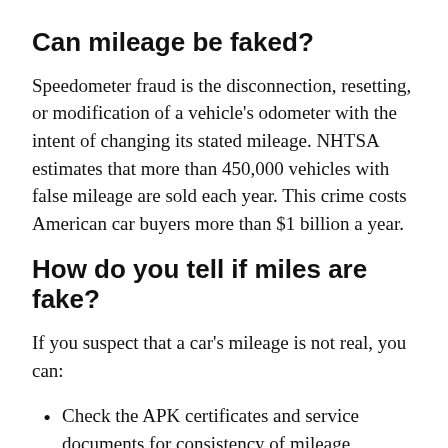Can mileage be faked?
Speedometer fraud is the disconnection, resetting, or modification of a vehicle's odometer with the intent of changing its stated mileage. NHTSA estimates that more than 450,000 vehicles with false mileage are sold each year. This crime costs American car buyers more than $1 billion a year.
How do you tell if miles are fake?
If you suspect that a car's mileage is not real, you can:
Check the APK certificates and service documents for consistency of mileage